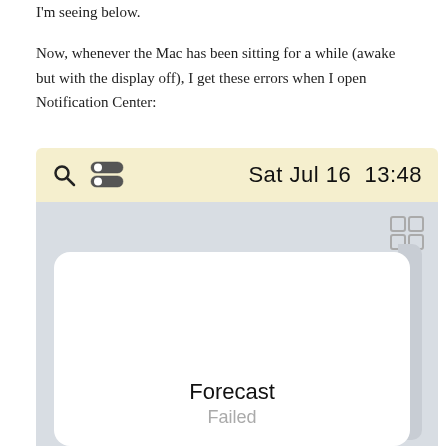I'm seeing below.
Now, whenever the Mac has been sitting for a while (awake but with the display off), I get these errors when I open Notification Center:
[Figure (screenshot): macOS Notification Center screenshot showing the header bar with search icon, toggle icon, date 'Sat Jul 16 13:48', a grid/widget icon, and a white widget card with title 'Forecast' and subtitle 'Failed' partially visible at the bottom.]